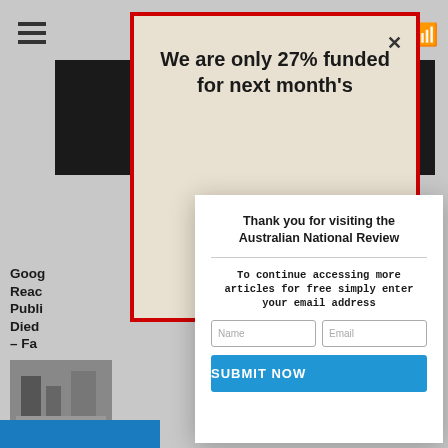[Figure (screenshot): Background of a website page with black top bar, hamburger menu icon, partially visible article text about Google, with a red-bordered popup and a white modal dialog overlay.]
We are only 27% funded for next month's
Thank you for visiting the Australian National Review
To continue accessing more articles for free simply enter your email address
Name
Email
SUBMIT NOW